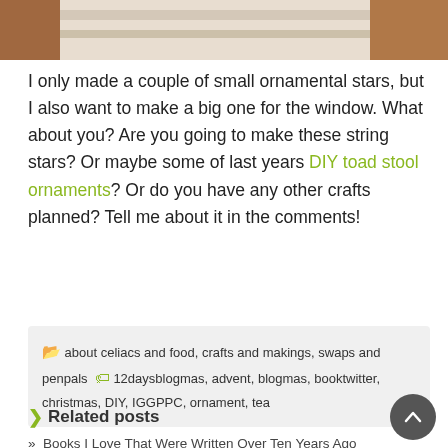[Figure (photo): Top portion of a photo showing brown/tan textured objects on a white surface, cropped at top of page]
I only made a couple of small ornamental stars, but I also want to make a big one for the window. What about you? Are you going to make these string stars? Or maybe some of last years DIY toad stool ornaments? Or do you have any other crafts planned? Tell me about it in the comments!
about celiacs and food, crafts and makings, swaps and penpals  12daysblogmas, advent, blogmas, booktwitter, christmas, DIY, IGGPPC, ornament, tea
Related posts
Books I Love That Were Written Over Ten Years Ago
Current series I am reading – update